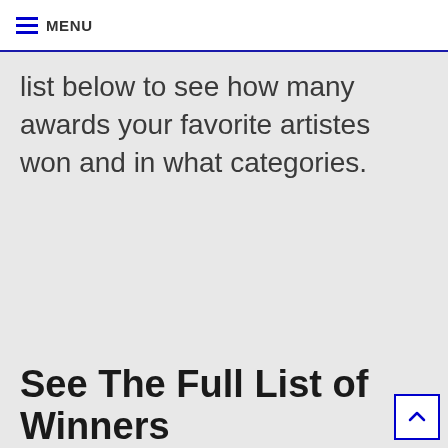MENU
list below to see how many awards your favorite artistes won and in what categories.
See The Full List of Winners